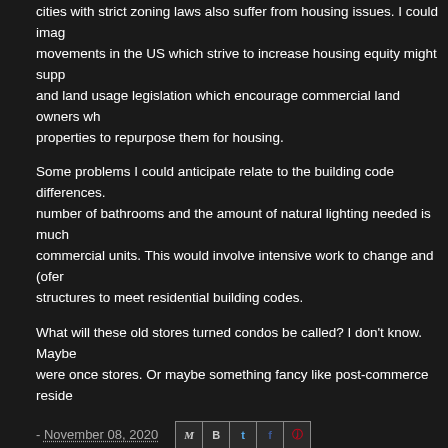cities with strict zoning laws also suffer from housing issues. I could imagine movements in the US which strive to increase housing equity might support and land usage legislation which encourage commercial land owners who properties to repurpose them for housing.
Some problems I could anticipate relate to the building code differences. number of bathrooms and the amount of natural lighting needed is much commercial units. This would involve intensive work to change and (often structures to meet residential building codes.
What will these old stores turned condos be called? I don't know. Maybe were once stores. Or maybe something fancy like post-commerce reside
- November 08, 2020
No comments:
Post a Comment
To leave a comment, click the button below to sign in with
SIGN IN WITH GOOGLE